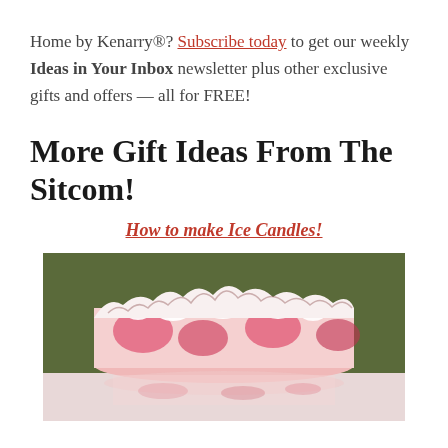Home by Kenarry®? Subscribe today to get our weekly Ideas in Your Inbox newsletter plus other exclusive gifts and offers — all for FREE!
More Gift Ideas From The Sitcom!
How to make Ice Candles!
[Figure (photo): Photo of an ice candle — a white and pink swirled candle with an irregular bumpy top surface, shown against a dark olive/green background, with a reflection visible below on a light surface.]